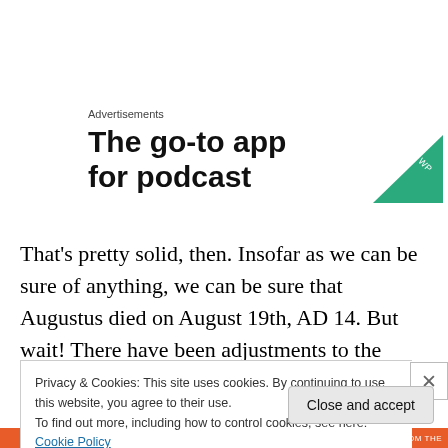Advertisements
[Figure (illustration): Advertisement banner with bold text 'The go-to app for podcast' and a green triangle/logo icon in the top right corner]
That’s pretty solid, then. Insofar as we can be sure of anything, we can be sure that Augustus died on August 19th, AD 14. But wait! There have been adjustments to the calendar between then and now, haven’t there? Did
Privacy & Cookies: This site uses cookies. By continuing to use this website, you agree to their use.
To find out more, including how to control cookies, see here: Cookie Policy
Close and accept